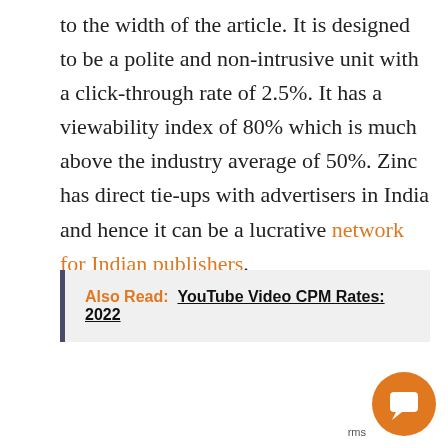to the width of the article. It is designed to be a polite and non-intrusive unit with a click-through rate of 2.5%. It has a viewability index of 80% which is much above the industry average of 50%. Zinc has direct tie-ups with advertisers in India and hence it can be a lucrative network for Indian publishers.
Also Read: YouTube Video CPM Rates: 2022